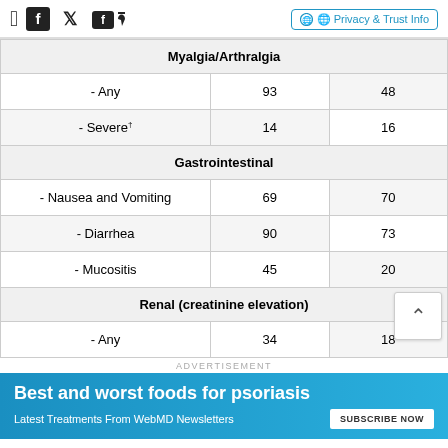Facebook Twitter | Privacy & Trust Info
|  |  |  |
| --- | --- | --- |
| Myalgia/Arthralgia |  |  |
| - Any | 93 | 48 |
| - Severe† | 14 | 16 |
| Gastrointestinal |  |  |
| - Nausea and Vomiting | 69 | 70 |
| - Diarrhea | 90 | 73 |
| - Mucositis | 45 | 20 |
| Renal (creatinine elevation) |  |  |
| - Any | 34 | 18 |
ADVERTISEMENT
[Figure (infographic): Advertisement banner: Best and worst foods for psoriasis. Latest Treatments From WebMD Newsletters. SUBSCRIBE NOW button.]